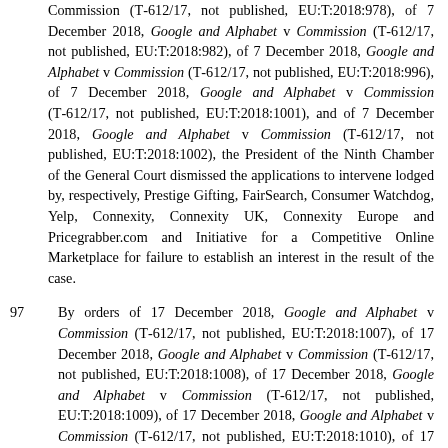Commission (T-612/17, not published, EU:T:2018:978), of 7 December 2018, Google and Alphabet v Commission (T-612/17, not published, EU:T:2018:982), of 7 December 2018, Google and Alphabet v Commission (T-612/17, not published, EU:T:2018:996), of 7 December 2018, Google and Alphabet v Commission (T-612/17, not published, EU:T:2018:1001), and of 7 December 2018, Google and Alphabet v Commission (T-612/17, not published, EU:T:2018:1002), the President of the Ninth Chamber of the General Court dismissed the applications to intervene lodged by, respectively, Prestige Gifting, FairSearch, Consumer Watchdog, Yelp, Connexity, Connexity UK, Connexity Europe and Pricegrabber.com and Initiative for a Competitive Online Marketplace for failure to establish an interest in the result of the case.
97 By orders of 17 December 2018, Google and Alphabet v Commission (T-612/17, not published, EU:T:2018:1007), of 17 December 2018, Google and Alphabet v Commission (T-612/17, not published, EU:T:2018:1008), of 17 December 2018, Google and Alphabet v Commission (T-612/17, not published, EU:T:2018:1009), of 17 December 2018, Google and Alphabet v Commission (T-612/17, not published, EU:T:2018:1010), of 17 December 2018, Google and Alphabet v Commission (T-612/17, not published, EU:T:2018:1011), of 17 December 2018, Google and